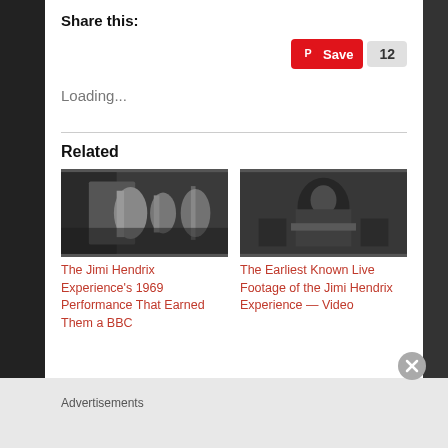Share this:
[Figure (other): Pinterest Save button with count 12]
Loading...
Related
[Figure (photo): Black and white photo of The Jimi Hendrix Experience performing on stage]
The Jimi Hendrix Experience's 1969 Performance That Earned Them a BBC
[Figure (photo): Black and white photo of Jimi Hendrix playing guitar]
The Earliest Known Live Footage of the Jimi Hendrix Experience — Video
Advertisements